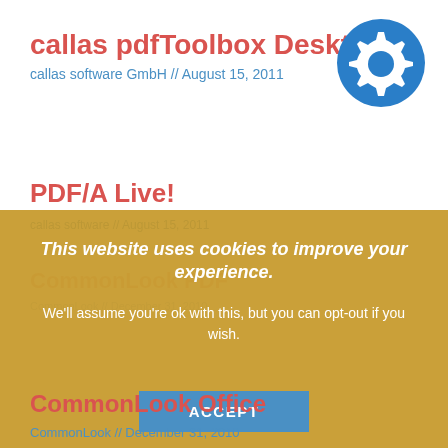callas pdfToolbox Desktop
callas software GmbH // August 15, 2011
[Figure (illustration): Blue circular gear/settings icon]
PDF/A Live!
This website uses cookies to improve your experience. We'll assume you're ok with this, but you can opt-out if you wish.
ACCEPT
Cookie settings
Read More
CommonLook Office
CommonLook // December 31, 2010